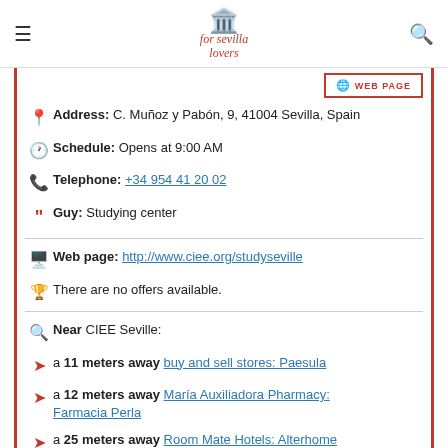for sevilla lovers
Address: C. Muñoz y Pabón, 9, 41004 Sevilla, Spain
Schedule: Opens at 9:00 AM
Telephone: +34 954 41 20 02
Guy: Studying center
Web page: http://www.ciee.org/studyseville
There are no offers available.
Near CIEE Seville:
a 11 meters away buy and sell stores: Paesula
a 12 meters away María Auxiliadora Pharmacy: Farmacia Perla
a 25 meters away Room Mate Hotels: Alterhome